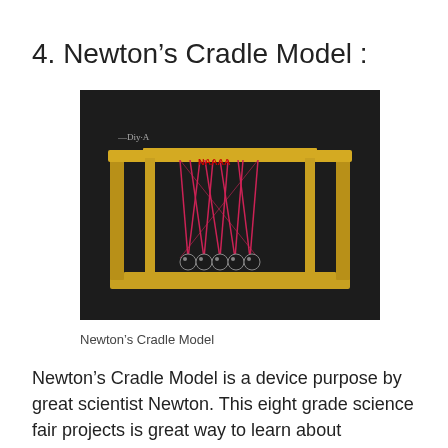4. Newton’s Cradle Model :
[Figure (photo): A handmade Newton's Cradle model constructed from cardboard (yellow/golden colored frame) with red/pink strings and small black spheres suspended inside, photographed against a dark background.]
Newton’s Cradle Model
Newton’s Cradle Model is a device purpose by great scientist Newton. This eight grade science fair projects is great way to learn about